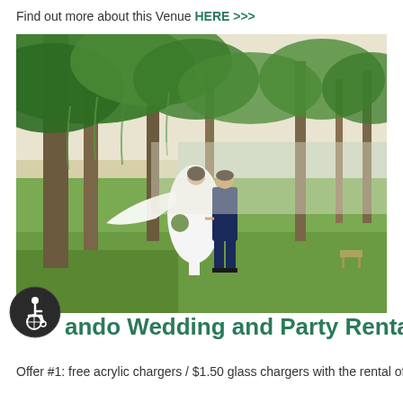Find out more about this Venue HERE >>>
[Figure (photo): Outdoor wedding photo of a bride in a white flowing dress holding a bouquet and a groom in a navy suit holding hands and walking across a green lawn beneath large moss-draped oak trees, with a body of water visible in the background.]
Orlando Wedding and Party Rentals
Offer #1: free acrylic chargers / $1.50 glass chargers with the rental of